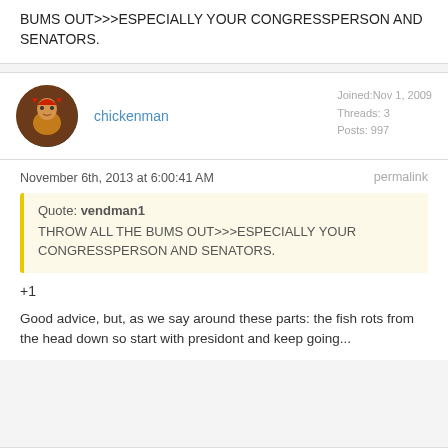BUMS OUT>>>ESPECIALLY YOUR CONGRESSPERSON AND SENATORS.
chickenman | Joined: Nov 1, 2009 | Threads: 3 | Posts: 997
November 6th, 2013 at 6:00:41 AM
permalink
Quote: vendman1
THROW ALL THE BUMS OUT>>>ESPECIALLY YOUR CONGRESSPERSON AND SENATORS.
+1
Good advice, but, as we say around these parts: the fish rots from the head down so start with presidont and keep going...